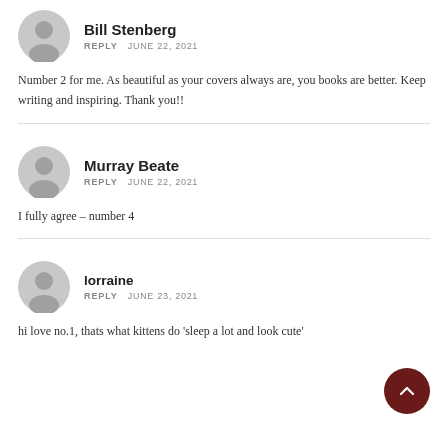Bill Stenberg
REPLY   JUNE 22, 2021
Number 2 for me. As beautiful as your covers always are, you books are better. Keep writing and inspiring. Thank you!!
Murray Beate
REPLY   JUNE 22, 2021
I fully agree – number 4
lorraine
REPLY   JUNE 23, 2021
hi love no.1, thats what kittens do 'sleep a lot and look cute'